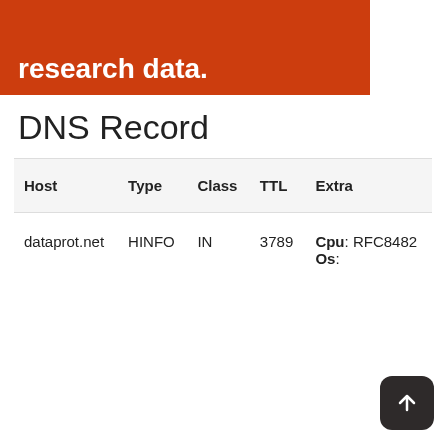[Figure (illustration): Orange/red banner with white bold text reading 'research data.']
DNS Record
| Host | Type | Class | TTL | Extra |
| --- | --- | --- | --- | --- |
| dataprot.net | HINFO | IN | 3789 | Cpu: RFC8482
Os: |